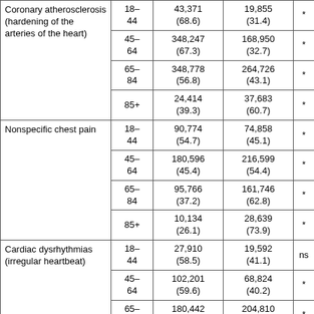| Condition | Age | Male n (%) | Female n (%) | Sig. |
| --- | --- | --- | --- | --- |
| Coronary atherosclerosis (hardening of the arteries of the heart) | 18–44 | 43,371 (68.6) | 19,855 (31.4) | * |
|  | 45–64 | 348,247 (67.3) | 168,950 (32.7) | * |
|  | 65–84 | 348,778 (56.8) | 264,726 (43.1) | * |
|  | 85+ | 24,414 (39.3) | 37,683 (60.7) | * |
| Nonspecific chest pain | 18–44 | 90,774 (54.7) | 74,858 (45.1) | * |
|  | 45–64 | 180,596 (45.4) | 216,599 (54.4) | * |
|  | 65–84 | 95,766 (37.2) | 161,746 (62.8) | * |
|  | 85+ | 10,134 (26.1) | 28,639 (73.9) | * |
| Cardiac dysrhythmias (irregular heartbeat) | 18–44 | 27,910 (58.5) | 19,592 (41.1) | ns |
|  | 45–64 | 102,201 (59.6) | 68,824 (40.2) | * |
|  | 65–84 | 180,442 (46.8) | 204,810 (53.1) | * |
|  | 85+ | 31,212 (31.4) | 67,477 (45.4) | * |